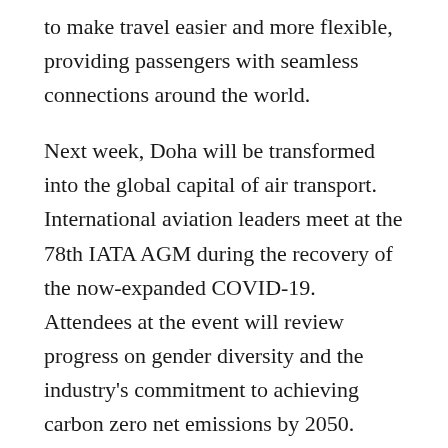to make travel easier and more flexible, providing passengers with seamless connections around the world.
Next week, Doha will be transformed into the global capital of air transport. International aviation leaders meet at the 78th IATA AGM during the recovery of the now-expanded COVID-19. Attendees at the event will review progress on gender diversity and the industry's commitment to achieving carbon zero net emissions by 2050.
And with high oil prices, war, and inflation the gathering will be an opportunity for airlines to explore the economic challenges ahead. The agenda will be complete, said Willie Walsh, Director General of IATA.